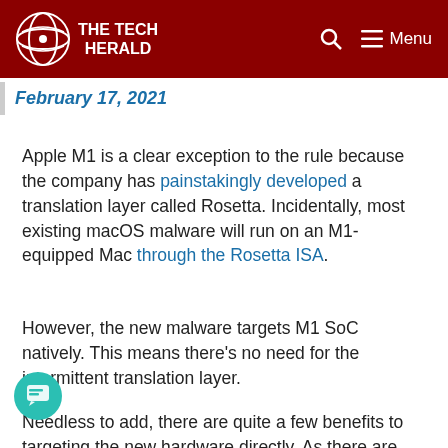THE TECH HERALD
February 17, 2021
Apple M1 is a clear exception to the rule because the company has painstakingly developed a translation layer called Rosetta. Incidentally, most existing macOS malware will run on an M1-equipped Mac through the Rosetta ISA.
However, the new malware targets M1 SoC natively. This means there's no need for the intermittent translation layer.
Needless to add, there are quite a few benefits to targeting the new hardware directly. As there are fewer processing cycles, the malware draws less